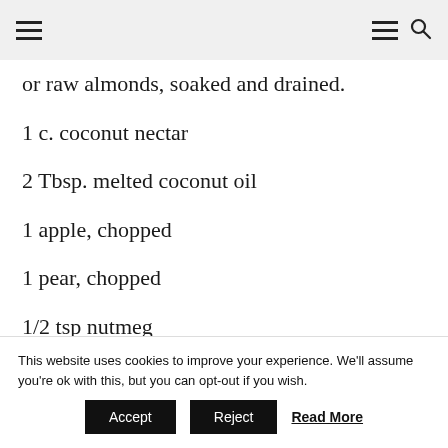Navigation header with hamburger menu and search icon
or raw almonds, soaked and drained.
1 c. coconut nectar
2 Tbsp. melted coconut oil
1 apple, chopped
1 pear, chopped
1/2 tsp nutmeg
This website uses cookies to improve your experience. We'll assume you're ok with this, but you can opt-out if you wish.